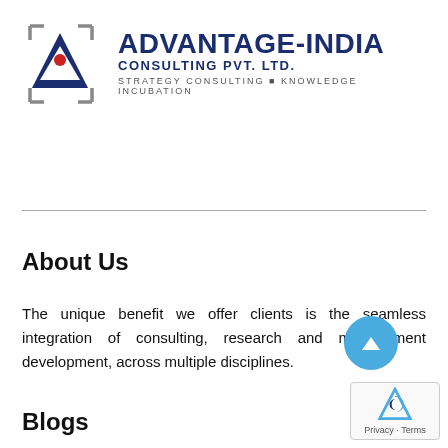[Figure (logo): Advantage-India Consulting Pvt. Ltd. logo with triangle/camera icon and text. STRATEGY CONSULTING | KNOWLEDGE INCUBATION]
About Us
The unique benefit we offer clients is the seamless integration of consulting, research and management development, across multiple disciplines.
Blogs